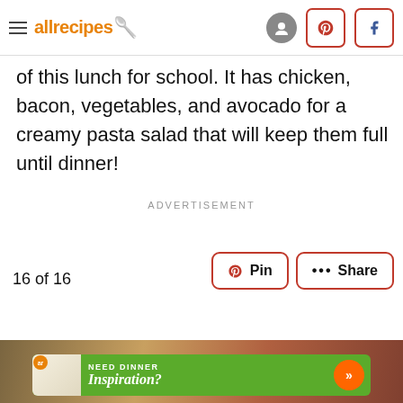allrecipes
of this lunch for school. It has chicken, bacon, vegetables, and avocado for a creamy pasta salad that will keep them full until dinner!
ADVERTISEMENT
16 of 16
[Figure (screenshot): Food photo at bottom of page with an advertisement banner reading 'NEED DINNER Inspiration?']